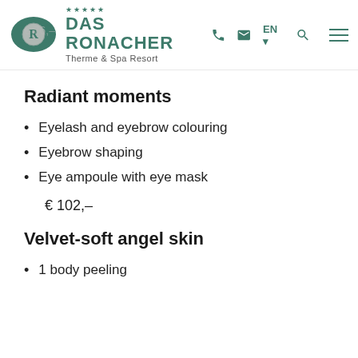DAS RONACHER Therme & Spa Resort
€ 76,–
Radiant moments
Eyelash and eyebrow colouring
Eyebrow shaping
Eye ampoule with eye mask
€ 102,–
Velvet-soft angel skin
1 body peeling